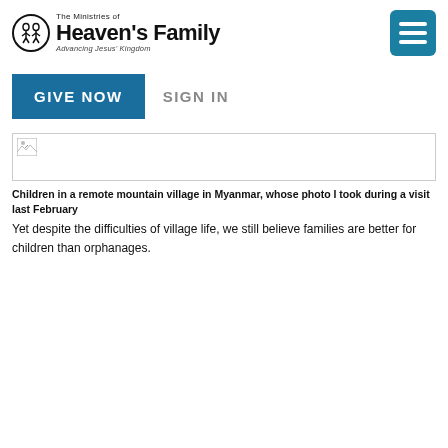The Ministries of Heaven's Family — Advancing Jesus' Kingdom
[Figure (logo): Heaven's Family logo with circular emblem showing people figures, text 'The Ministries of Heaven's Family — Advancing Jesus' Kingdom']
[Figure (other): Hamburger menu button — teal/dark-blue rounded square with three horizontal white lines]
[Figure (other): GIVE NOW teal button and SIGN IN grey text link navigation bar]
[Figure (photo): Broken image placeholder — bordered rectangle with broken image icon in top-left corner, representing a photo of children in a remote mountain village in Myanmar]
Children in a remote mountain village in Myanmar, whose photo I took during a visit last February
Yet despite the difficulties of village life, we still believe families are better for children than orphanages.